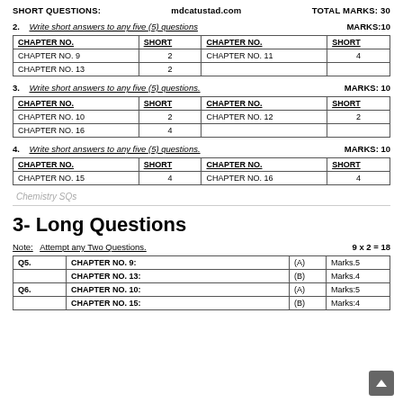SHORT QUESTIONS:    mdcatustad.com    TOTAL MARKS: 30
2.    Write short answers to any five (5) questions    MARKS:10
| CHAPTER NO. | SHORT | CHAPTER NO. | SHORT |
| --- | --- | --- | --- |
| CHAPTER NO. 9 | 2 | CHAPTER NO. 11 | 4 |
| CHAPTER NO. 13 | 2 |  |  |
3.    Write short answers to any five (5) questions.    MARKS: 10
| CHAPTER NO. | SHORT | CHAPTER NO. | SHORT |
| --- | --- | --- | --- |
| CHAPTER NO. 10 | 2 | CHAPTER NO. 12 | 2 |
| CHAPTER NO. 16 | 4 |  |  |
4.    Write short answers to any five (5) questions.    MARKS: 10
| CHAPTER NO. | SHORT | CHAPTER NO. | SHORT |
| --- | --- | --- | --- |
| CHAPTER NO. 15 | 4 | CHAPTER NO. 16 | 4 |
Chemistry SQs
3- Long Questions
Note:   Attempt any Two Questions.    9 x 2 = 18
| Q5. | CHAPTER NO. 9: | (A) | Marks.5 |
| --- | --- | --- | --- |
|  | CHAPTER NO. 13: | (B) | Marks.4 |
| Q6. | CHAPTER NO. 10: | (A) | Marks:5 |
|  | CHAPTER NO. 15: | (B) | Marks:4 |